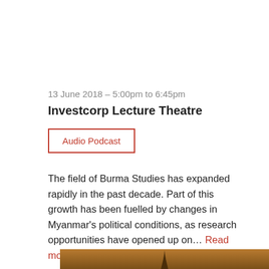13 June 2018 – 5:00pm to 6:45pm
Investcorp Lecture Theatre
Audio Podcast
The field of Burma Studies has expanded rapidly in the past decade. Part of this growth has been fuelled by changes in Myanmar's political conditions, as research opportunities have opened up on… Read more
[Figure (photo): Photograph of a temple or pagoda spire against a hazy sky, appearing to be from Myanmar/Burma]